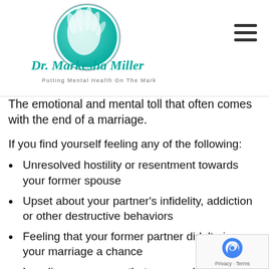[Figure (logo): Dr. Markesha Miller logo: teal/green circle with a hand icon, cursive script 'Dr. Markesha Miller' and subtitle 'Putting Mental Health On The Mark'. Hamburger menu icon top right.]
The emotional and mental toll that often comes with the end of a marriage.
If you find yourself feeling any of the following:
Unresolved hostility or resentment towards your former spouse
Upset about your partner's infidelity, addiction or other destructive behaviors
Feeling that your former partner didn't give your marriage a chance
Loneliness, or worry that you won't find love